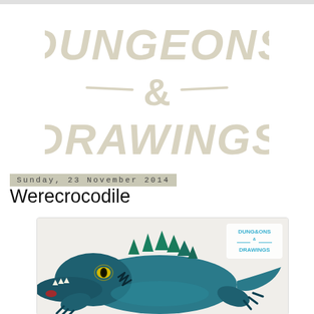[Figure (logo): Dungeons and Drawings hand-lettered logo in cream/beige on white background]
Sunday, 23 November 2014
Werecrocodile
[Figure (illustration): Illustration of a werecrocodile creature in teal/blue tones with glowing yellow eye, clawed hands and feet, spiky back, against a light background. Small Dungeons and Drawings logo in upper right corner of image.]